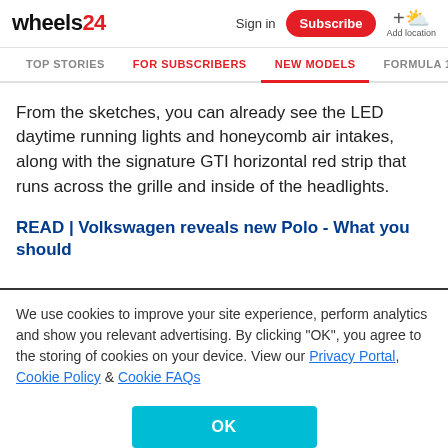wheels24
Sign in | Subscribe | Add location
TOP STORIES | FOR SUBSCRIBERS | NEW MODELS | FORMULA 1
From the sketches, you can already see the LED daytime running lights and honeycomb air intakes, along with the signature GTI horizontal red strip that runs across the grille and inside of the headlights.
READ | Volkswagen reveals new Polo - What you should
We use cookies to improve your site experience, perform analytics and show you relevant advertising. By clicking "OK", you agree to the storing of cookies on your device. View our Privacy Portal, Cookie Policy & Cookie FAQs
OK